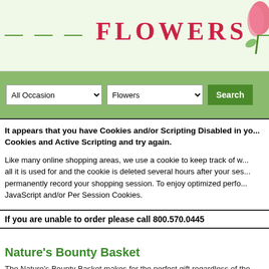[Figure (screenshot): Website header banner with decorative dashes, FLOWERS text in red/crimson, and a pink tulip in the top right corner on a light green background]
[Figure (screenshot): Green navigation bar with 'All Occasion' dropdown, 'Flowers' dropdown, and a dark green 'Search' button]
It appears that you have Cookies and/or Scripting Disabled in your browser. Please enable Cookies and Active Scripting and try again.
Like many online shopping areas, we use a cookie to keep track of what is in your shopping cart, all it is used for and the cookie is deleted several hours after your session ends. We do not permanently record your shopping session. To enjoy optimized performance please enable JavaScript and/or Per Session Cookies.
If you are unable to order please call 800.570.0445
Nature's Bounty Basket
The Nature's Bounty Basket makes for the perfect gift regardless of the occasion. Abounding with pink and white roses and lilies, this